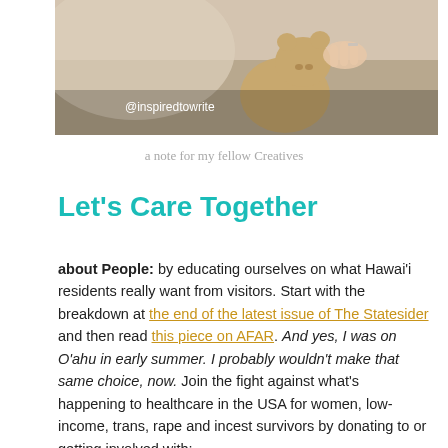[Figure (photo): A photograph showing a person holding or resting with a stuffed teddy bear, warm beige and tan tones, with a watermark '@inspiredtowrite' in white text.]
a note for my fellow Creatives
Let's Care Together
about People: by educating ourselves on what Hawai'i residents really want from visitors. Start with the breakdown at the end of the latest issue of The Statesider and then read this piece on AFAR. And yes, I was on O'ahu in early summer. I probably wouldn't make that same choice, now. Join the fight against what's happening to healthcare in the USA for women, low-income, trans, rape and incest survivors by donating to or getting involved with: